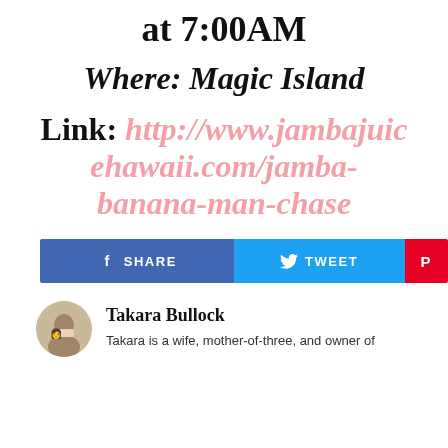at 7:00AM
Where: Magic Island
Link: http://www.jambajuicehawaii.com/jamba-banana-man-chase
[Figure (other): Social share buttons: Facebook SHARE, Twitter TWEET, Pinterest icon]
Takara Bullock
Takara is a wife, mother-of-three, and owner of